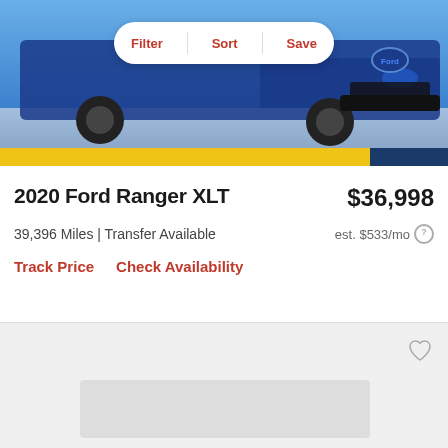[Figure (photo): Blue Ford Ranger XLT truck front view in showroom with white background]
Filter | Sort | Save
2020 Ford Ranger XLT
$36,998
39,396 Miles | Transfer Available
est. $533/mo
Track Price   Check Availability
[Figure (photo): Partial view of next car listing card, gray placeholder image visible]